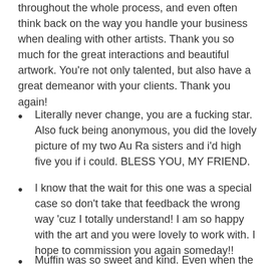throughout the whole process, and even often think back on the way you handle your business when dealing with other artists. Thank you so much for the great interactions and beautiful artwork. You're not only talented, but also have a great demeanor with your clients. Thank you again!
Literally never change, you are a fucking star. Also fuck being anonymous, you did the lovely picture of my two Au Ra sisters and i'd high five you if i could. BLESS YOU, MY FRIEND.
I know that the wait for this one was a special case so don't take that feedback the wrong way 'cuz I totally understand! I am so happy with the art and you were lovely to work with. I hope to commission you again someday!!
Muffin was so sweet and kind. Even when the